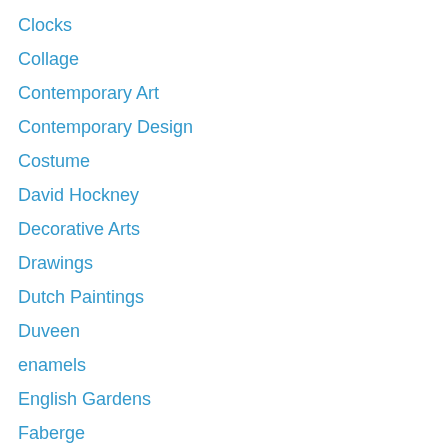Clocks
Collage
Contemporary Art
Contemporary Design
Costume
David Hockney
Decorative Arts
Drawings
Dutch Paintings
Duveen
enamels
English Gardens
Faberge
Fine Art
First World war
Flemish Paintings
Found Objects
Frames
French 18th Century Art
French Paintings